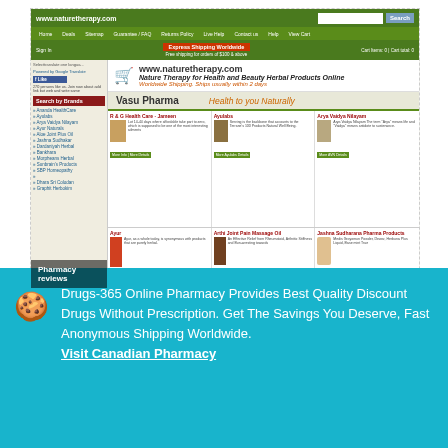[Figure (screenshot): Screenshot of NatureTherapy.com website showing green navigation bar, Vasu Pharma banner, product grid with herbal products, and left sidebar with brand search links. Pharmacy reviews badge visible.]
NatureTherapy.com
November 13, 2014   Dr. Steve
Drugs-365 Online Pharmacy Provides Best Quality Discount Drugs Without Prescription. Get The Savings You Deserve, Fast Anonymous Shipping Worldwide. Visit Canadian Pharmacy